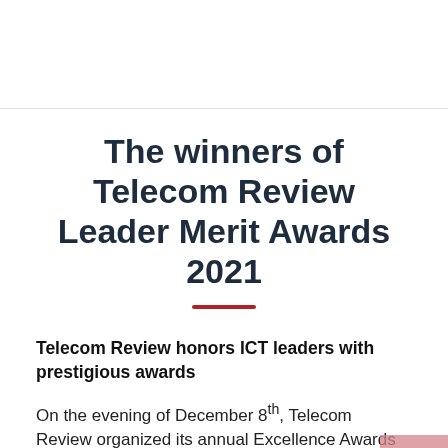The winners of Telecom Review Leader Merit Awards 2021
Telecom Review honors ICT leaders with prestigious awards
On the evening of December 8th, Telecom Review organized its annual Excellence Awards ceremony where ICT leaders were recognized for their achievements